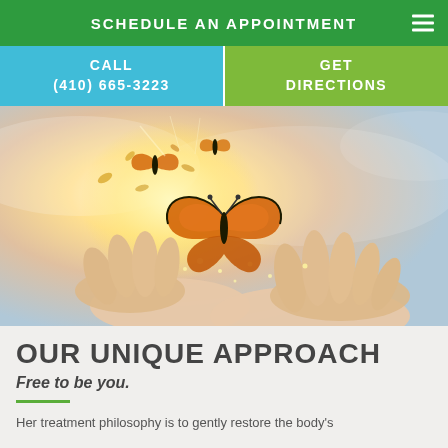SCHEDULE AN APPOINTMENT
CALL (410) 665-3223
GET DIRECTIONS
[Figure (photo): Hands cupped upward with a butterfly resting on them and butterflies flying away, with bright sunlight and sky in the background — a serene, healing-themed image.]
OUR UNIQUE APPROACH
Free to be you.
Her treatment philosophy is to gently restore the body's